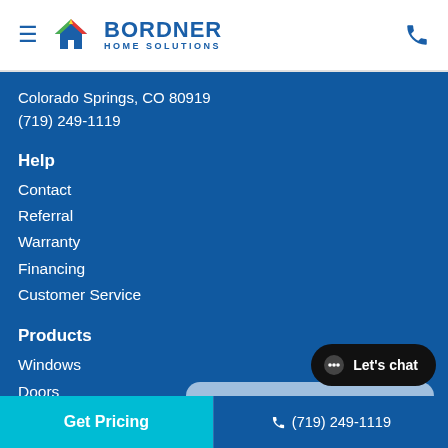Bordner Home Solutions — navigation header with hamburger menu and phone icon
Colorado Springs, CO 80919
(719) 249-1119
Help
Contact
Referral
Warranty
Financing
Customer Service
Products
Windows
Doors
Bathrooms
Kitchen Cabinet Refacing
[Figure (other): Chat popup with customer service avatar, text: Hi there, have a question? Text us here!]
Service Areas
Get Pricing | (719) 249-1119 | Let's chat